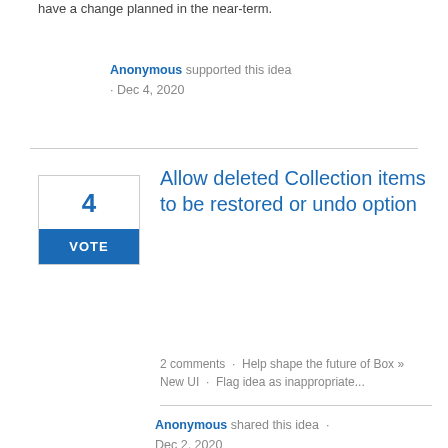have a change planned in the near-term.
Anonymous supported this idea · Dec 4, 2020
Allow deleted Collection items to be restored or undo option
2 comments · Help shape the future of Box » New UI · Flag idea as inappropriate...
Anonymous shared this idea · Dec 2, 2020